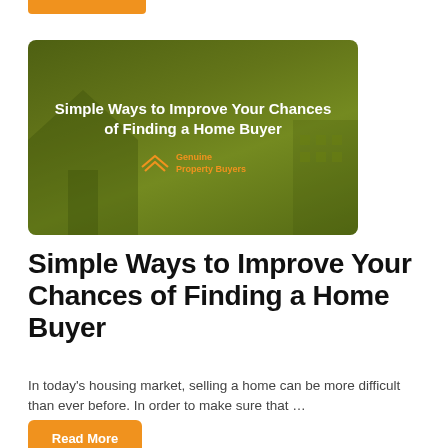[Figure (illustration): Green card image banner with title text 'Simple Ways to Improve Your Chances of Finding a Home Buyer' and Genuine Property Buyers logo with house icon]
Simple Ways to Improve Your Chances of Finding a Home Buyer
In today's housing market, selling a home can be more difficult than ever before. In order to make sure that ...